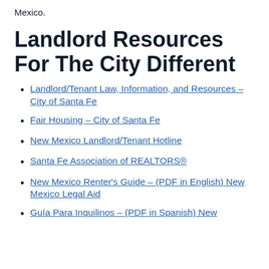Mexico.
Landlord Resources For The City Different
Landlord/Tenant Law, Information, and Resources – City of Santa Fe
Fair Housing – City of Santa Fe
New Mexico Landlord/Tenant Hotline
Santa Fe Association of REALTORS®
New Mexico Renter's Guide – (PDF in English) New Mexico Legal Aid
Guía Para Inquilinos – (PDF in Spanish) New